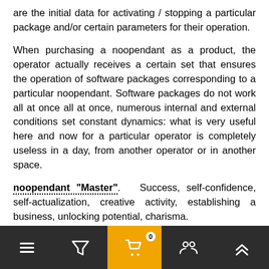are the initial data for activating / stopping a particular package and/or certain parameters for their operation.
When purchasing a noopendant as a product, the operator actually receives a certain set that ensures the operation of software packages corresponding to a particular noopendant. Software packages do not work all at once all at once, numerous internal and external conditions set constant dynamics: what is very useful here and now for a particular operator is completely useless in a day, from another operator or in another space.
noopendant "Master". Success, self-confidence, self-actualization, creative activity, establishing a business, unlocking potential, charisma.
noopendant "Corsair". Activity, energy, determination, expansion and capture of space.
noopendant "Body". Health, the elimination of blocks, the joy of [movement, control] and many other studies related to the body.
[Figure (other): Bottom navigation toolbar with 5 icon buttons: menu (hamburger), filter (funnel), cart with badge '0' (orange background), accounts/people, and scroll-to-top (double chevron up)]